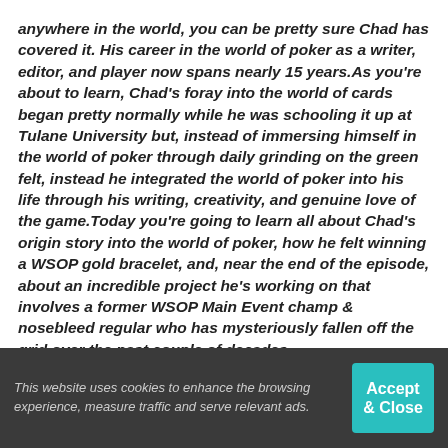anywhere in the world, you can be pretty sure Chad has covered it. His career in the world of poker as a writer, editor, and player now spans nearly 15 years.As you're about to learn, Chad's foray into the world of cards began pretty normally while he was schooling it up at Tulane University but, instead of immersing himself in the world of poker through daily grinding on the green felt, instead he integrated the world of poker into his life through his writing, creativity, and genuine love of the game.Today you're going to learn all about Chad's origin story into the world of poker, how he felt winning a WSOP gold bracelet, and, near the end of the episode, about an incredible project he's working on that involves a former WSOP Main Event champ & nosebleed regular who has mysteriously fallen off the grid over the past couple of decades.
View the complete archives of Chasing Poker Greatness in the directory →
This website uses cookies to enhance the browsing experience, measure traffic and serve relevant ads.  Accept & Close